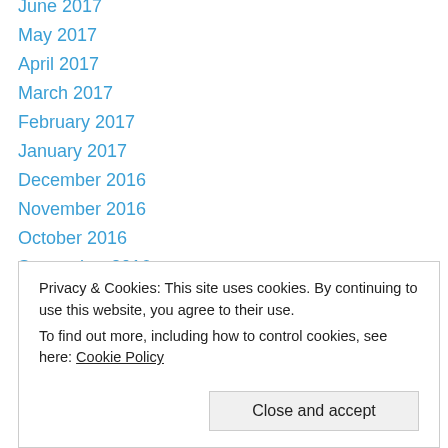June 2017
May 2017
April 2017
March 2017
February 2017
January 2017
December 2016
November 2016
October 2016
September 2016
August 2016
July 2016
June 2016
May 2016
November 2015
Privacy & Cookies: This site uses cookies. By continuing to use this website, you agree to their use.
To find out more, including how to control cookies, see here: Cookie Policy